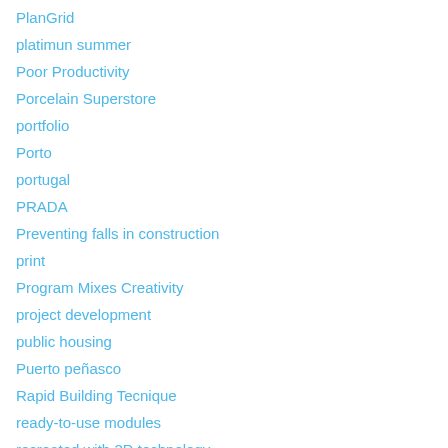PlanGrid
platimun summer
Poor Productivity
Porcelain Superstore
portfolio
Porto
portugal
PRADA
Preventing falls in construction
print
Program Mixes Creativity
project development
public housing
Puerto peñasco
Rapid Building Tecnique
ready-to-use modules
recreated with 3D technology
RED VALENTINO